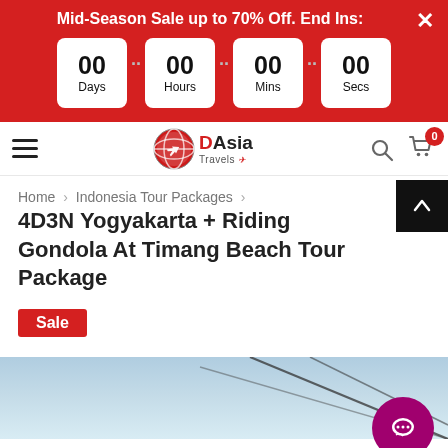Mid-Season Sale up to 70% Off. End Ins:
00 Days 00 Hours 00 Mins 00 Secs
[Figure (logo): DAsia Travels logo with globe icon]
Home > Indonesia Tour Packages > 4D3N Yogyakarta + Riding Gondola At Timang Beach Tour Package
4D3N Yogyakarta + Riding Gondola At Timang Beach Tour Package
Sale
[Figure (photo): Sky and gondola cable lines at Timang Beach]